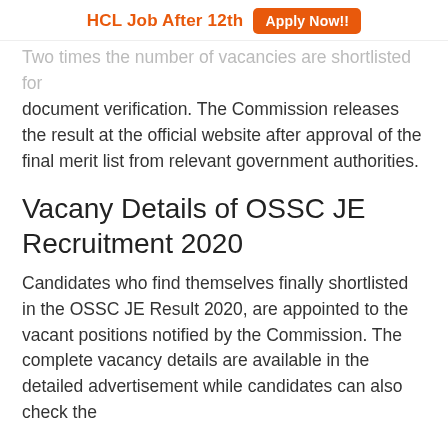HCL Job After 12th  Apply Now!!
Two times the number of vacancies are shortlisted for document verification. The Commission releases the result at the official website after approval of the final merit list from relevant government authorities.
Vacany Details of OSSC JE Recruitment 2020
Candidates who find themselves finally shortlisted in the OSSC JE Result 2020, are appointed to the vacant positions notified by the Commission. The complete vacancy details are available in the detailed advertisement while candidates can also check the